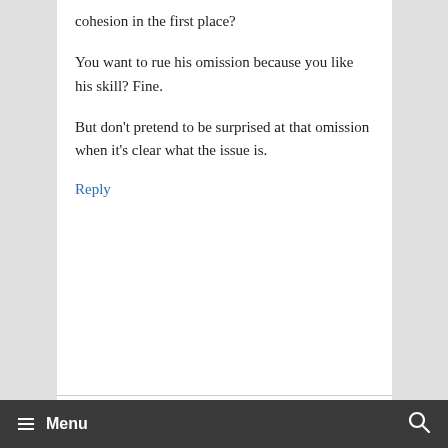cohesion in the first place?
You want to rue his omission because you like his skill? Fine.
But don't pretend to be surprised at that omission when it's clear what the issue is.
Reply
Andrew
June 3, 2015 at 4:02 pm
≡ Menu